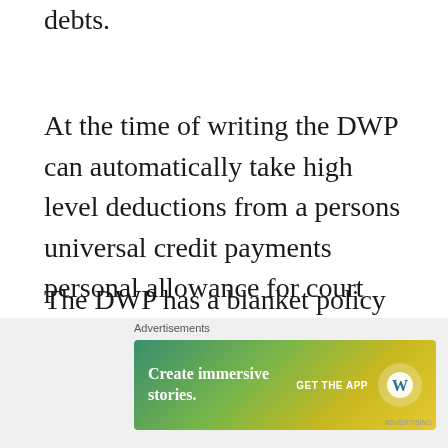debts.
At the time of writing the DWP can automatically take high level deductions from a persons universal credit payments personal allowance for court fine payments, council tax debts and suchlike.
The DWP has a blanket policy of always cutting benefit by the maximum amount possible which is given regardless of personal circumstances. This leaves already financially vulnerable people struggling to buy food and
[Figure (screenshot): Advertisement banner: 'Create immersive stories. GET THE APP' with WordPress logo, gradient green-yellow background.]